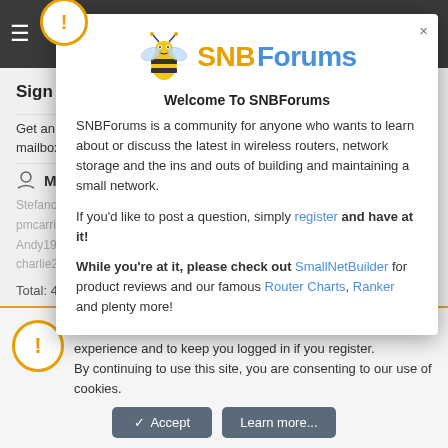SNBForums navigation bar with hamburger menu, Login, Register, and icons
Sign Up For SNBForums Daily Digest
Get an update of what's new every day delivered to your mailbox. Sign up here!
Members online
StefanoN, NoName79, rmw..., KeyTech, avtella, codepath, pmcarrion, indoortraveler, bhvnge, Patrick9876, ColDen, Joker45, Andy1932, huzar, rickapel, R..., ...amb, Reilu, charlie2alpha, bartj12, iFrog...
Total: 440 (members: 28, guests: 412)
[Figure (screenshot): SNBForums welcome modal popup with bee logo, site description, and navigation links]
Welcome To SNBForums
SNBForums is a community for anyone who wants to learn about or discuss the latest in wireless routers, network storage and the ins and outs of building and maintaining a small network.
If you'd like to post a question, simply register and have at it!
While you're at it, please check out SmallNetBuilder for product reviews and our famous Router Charts, Ranker and plenty more!
This site uses cookies to help personalise content, tailor your experience and to keep you logged in if you register. By continuing to use this site, you are consenting to our use of cookies.